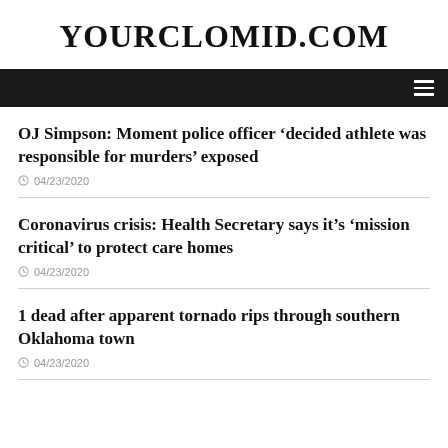YOURCLOMID.COM
Navigation bar with hamburger menu
OJ Simpson: Moment police officer ‘decided athlete was responsible for murders’ exposed
04/23/2020
Coronavirus crisis: Health Secretary says it’s ‘mission critical’ to protect care homes
04/23/2020
1 dead after apparent tornado rips through southern Oklahoma town
04/23/2020